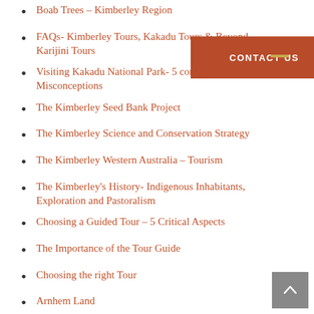Boab Trees – Kimberley Region
FAQs- Kimberley Tours, Kakadu Tours & Beyond, Karijini Tours
Visiting Kakadu National Park- 5 common Misconceptions
The Kimberley Seed Bank Project
The Kimberley Science and Conservation Strategy
The Kimberley Western Australia – Tourism
The Kimberley's History- Indigenous Inhabitants, Exploration and Pastoralism
Choosing a Guided Tour – 5 Critical Aspects
The Importance of the Tour Guide
Choosing the right Tour
Arnhem Land